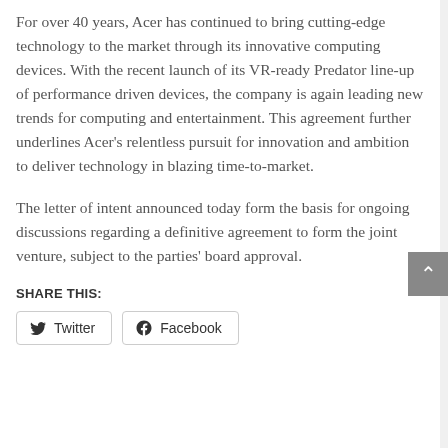For over 40 years, Acer has continued to bring cutting-edge technology to the market through its innovative computing devices. With the recent launch of its VR-ready Predator line-up of performance driven devices, the company is again leading new trends for computing and entertainment. This agreement further underlines Acer's relentless pursuit for innovation and ambition to deliver technology in blazing time-to-market.
The letter of intent announced today form the basis for ongoing discussions regarding a definitive agreement to form the joint venture, subject to the parties' board approval.
SHARE THIS: